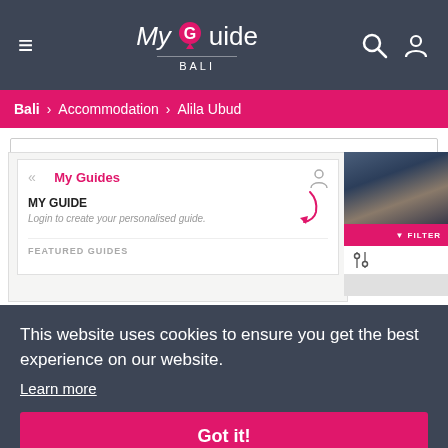My Guide BALI
Bali > Accommodation > Alila Ubud
Filter Accommodation in Bali
[Figure (screenshot): Screenshot of My Guides panel showing MY GUIDE login prompt and FEATURED GUIDES section, alongside a travel photo with pink filter bar and share icon]
This website uses cookies to ensure you get the best experience on our website.
Learn more
Got it!
[Figure (illustration): World map silhouette in dark tones at the bottom of the page]